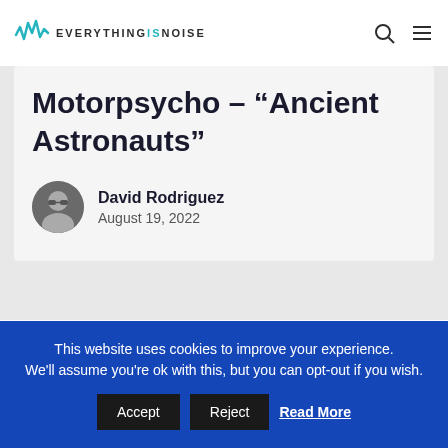EVERYTHINGSNOISE
Motorpsycho – “Ancient Astronauts”
David Rodriguez
August 19, 2022
Leave a Reply
This website uses cookies to improve your experience. We'll assume you're ok with this, but you can opt-out if you wish. Accept Reject Read More